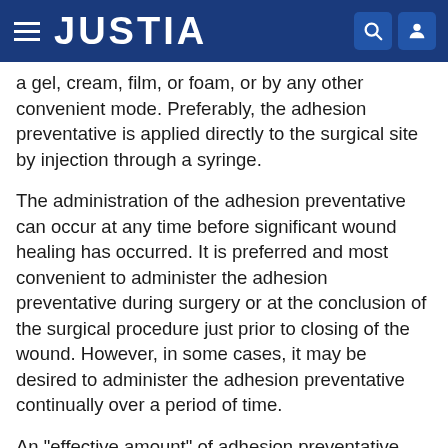JUSTIA
a gel, cream, film, or foam, or by any other convenient mode. Preferably, the adhesion preventative is applied directly to the surgical site by injection through a syringe.
The administration of the adhesion preventative can occur at any time before significant wound healing has occurred. It is preferred and most convenient to administer the adhesion preventative during surgery or at the conclusion of the surgical procedure just prior to closing of the wound. However, in some cases, it may be desired to administer the adhesion preventative continually over a period of time.
An "effective amount" of adhesion preventative topically applied to the site of surgical trauma is an amount necessary to affect a reduction in the incidence of post-operative surgical adhesion formation. The amount